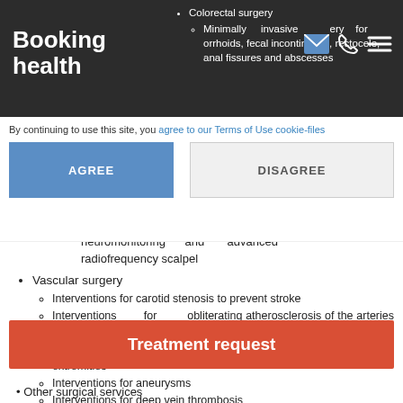Booking health — header with navigation icons
Colorectal surgery
Minimally invasive surgery for hemorrhoids, fecal incontinence, rectocele, anal fissures and abscesses
By continuing to use this site, you agree to our Terms of Use cookie-files
AGREE | DISAGREE
neuromonitoring and advanced radiofrequency scalpel
Vascular surgery
Interventions for carotid stenosis to prevent stroke
Interventions for obliterating atherosclerosis of the arteries of the lower extremities
Interventions for vascular occlusions in the upper and lower extremities
Interventions for aneurysms
Interventions for deep vein thrombosis
Interventions for varicose veins
Treatment request
Other surgical services